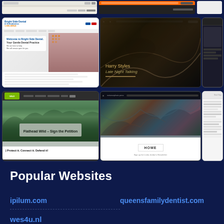[Figure (screenshot): Top row showing partial website screenshots]
[Figure (screenshot): Screenshot of Bright Side Dental & Orthodontics website with woman and child]
[Figure (screenshot): Screenshot of Harry Styles - Late Night Talking music page with dark artistic background]
[Figure (screenshot): Partial screenshot on right side]
[Figure (screenshot): Screenshot of Flathead Wild - Sign the Petition website with mountain landscape]
[Figure (screenshot): Screenshot of Metamorphosis Press website with HOME button]
[Figure (screenshot): Partial screenshot of a website with list content on far right]
Popular Websites
ipilum.com
queensfamilydentist.com
wes4u.nl